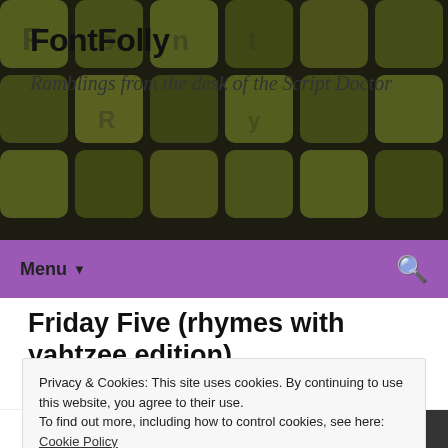[Figure (photo): Dark background photo of yellow-green dice/game tiles scattered on a surface, used as website header background]
Font Folly
Ramblings from the desk of the Script Doctor
Menu ▾
Friday Five (rhymes with yahtzee edition)
June 5, 2020    blogging    alt-right, friday, friday five, friday links, links, nazis, news
Privacy & Cookies: This site uses cookies. By continuing to use this website, you agree to their use.
To find out more, including how to control cookies, see here: Cookie Policy
Close and accept
Friday in